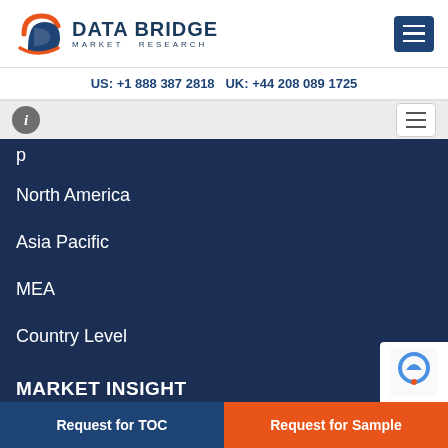[Figure (logo): Data Bridge Market Research logo with orange and blue 'd' icon and brand name]
US: +1 888 387 2818 UK: +44 208 089 1725
North America
Asia Pacific
MEA
Country Level
MARKET INSIGHT
COVID-19 Resources
Blog
Request for TOC
Request for Sample